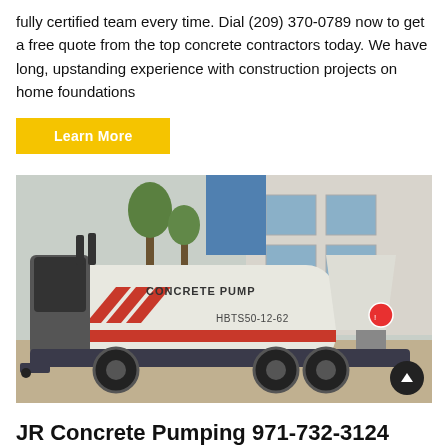fully certified team every time. Dial (209) 370-0789 now to get a free quote from the top concrete contractors today. We have long, upstanding experience with construction projects on home foundations
Learn More
[Figure (photo): A white concrete pump truck labeled 'CONCRETE PUMP' and 'HBTS50-12-62' with red chevron markings, parked outdoors in front of a building with trees in background.]
JR Concrete Pumping 971-732-3124